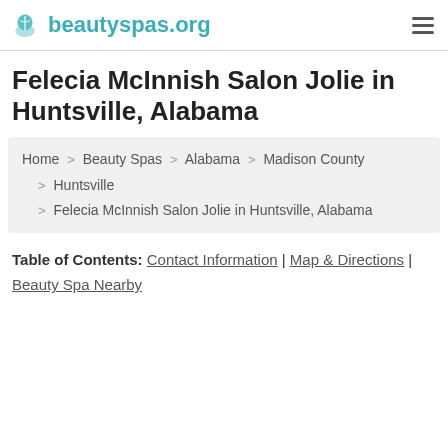beautyspas.org
Felecia McInnish Salon Jolie in Huntsville, Alabama
Home > Beauty Spas > Alabama > Madison County > Huntsville > Felecia McInnish Salon Jolie in Huntsville, Alabama
Table of Contents: Contact Information | Map & Directions | Beauty Spa Nearby